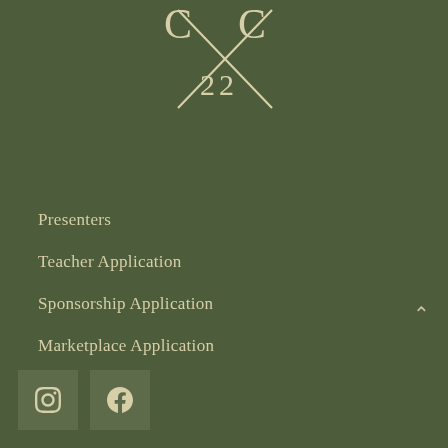[Figure (logo): CxC 22 logo with crossed needles/pins forming an X, serif letters C on each side, number 22 below center, on dark olive green background]
Presenters
Teacher Application
Sponsorship Application
Marketplace Application
[Figure (infographic): Instagram icon in a muted olive square button]
[Figure (infographic): Facebook icon in a muted olive square button]